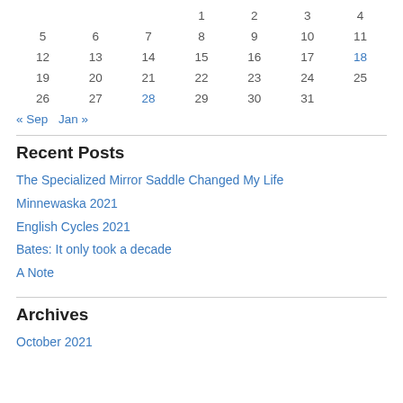| Sun | Mon | Tue | Wed | Thu | Fri | Sat |
| --- | --- | --- | --- | --- | --- | --- |
|  |  |  | 1 | 2 | 3 | 4 |
| 5 | 6 | 7 | 8 | 9 | 10 | 11 |
| 12 | 13 | 14 | 15 | 16 | 17 | 18 |
| 19 | 20 | 21 | 22 | 23 | 24 | 25 |
| 26 | 27 | 28 | 29 | 30 | 31 |  |
« Sep   Jan »
Recent Posts
The Specialized Mirror Saddle Changed My Life
Minnewaska 2021
English Cycles 2021
Bates: It only took a decade
A Note
Archives
October 2021